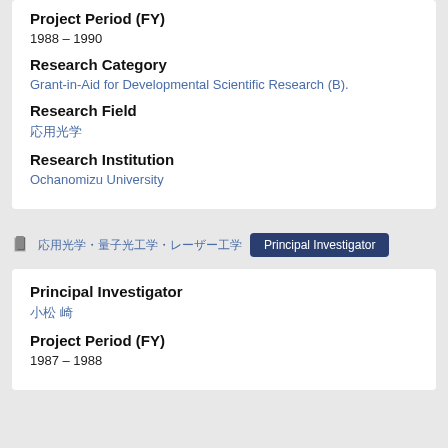Project Period (FY)
1988 – 1990
Research Category
Grant-in-Aid for Developmental Scientific Research (B).
Research Field
応用光学
Research Institution
Ochanomizu University
応用光学・量子光工学・レーザー工学
Principal Investigator
Principal Investigator
小松 崎
Project Period (FY)
1987 – 1988